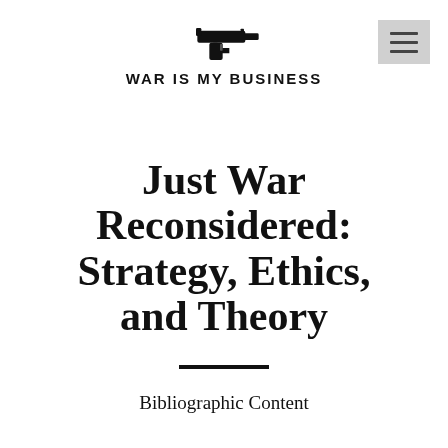WAR IS MY BUSINESS
Just War Reconsidered: Strategy, Ethics, and Theory
Bibliographic Content